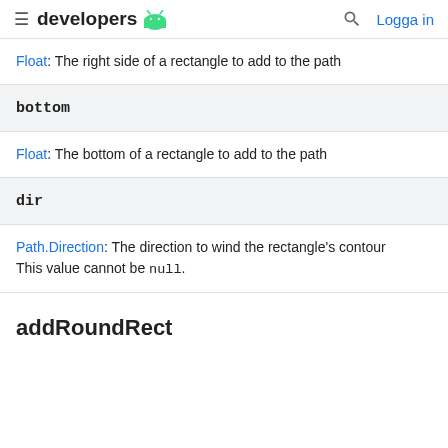developers [android logo] | [search] Logga in
Float: The right side of a rectangle to add to the path
bottom
Float: The bottom of a rectangle to add to the path
dir
Path.Direction: The direction to wind the rectangle's contour This value cannot be null.
addRoundRect